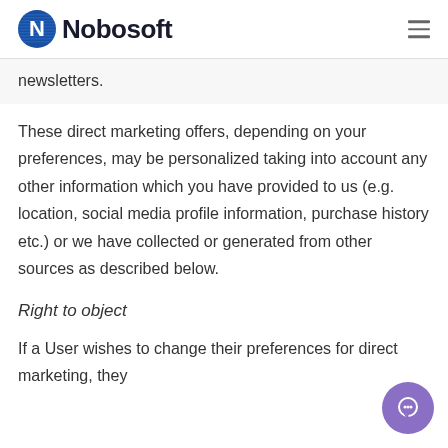Nobosoft
newsletters.
These direct marketing offers, depending on your preferences, may be personalized taking into account any other information which you have provided to us (e.g. location, social media profile information, purchase history etc.) or we have collected or generated from other sources as described below.
Right to object
If a User wishes to change their preferences for direct marketing, they